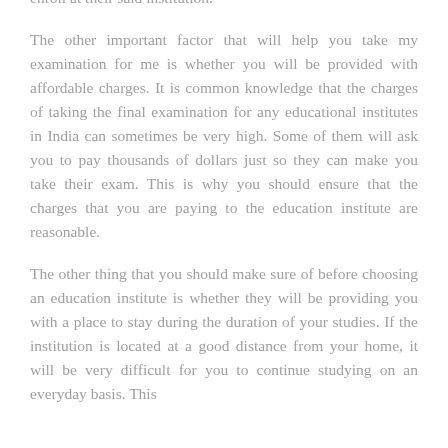you take my examination for me but will only do so if you enroll at their said institution.
The other important factor that will help you take my examination for me is whether you will be provided with affordable charges. It is common knowledge that the charges of taking the final examination for any educational institutes in India can sometimes be very high. Some of them will ask you to pay thousands of dollars just so they can make you take their exam. This is why you should ensure that the charges that you are paying to the education institute are reasonable.
The other thing that you should make sure of before choosing an education institute is whether they will be providing you with a place to stay during the duration of your studies. If the institution is located at a good distance from your home, it will be very difficult for you to continue studying on an everyday basis. This